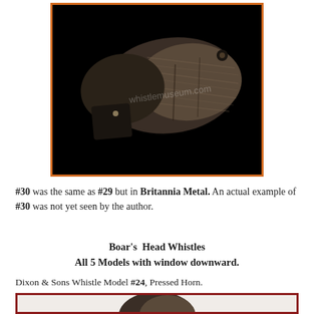[Figure (photo): A boar's head whistle made of pressed horn/wood, photographed against black background with watermark 'whistlemuseum.com'. The whistle is shaped like an animal head with textured grain.]
#30 was the same as #29 but in Britannia Metal. An actual example of #30 was not yet seen by the author.
Boar's Head Whistles
All 5 Models with window downward.
Dixon & Sons Whistle Model #24, Pressed Horn.
[Figure (photo): Partial view of a boar's head whistle, pressed horn, shown with window downward.]